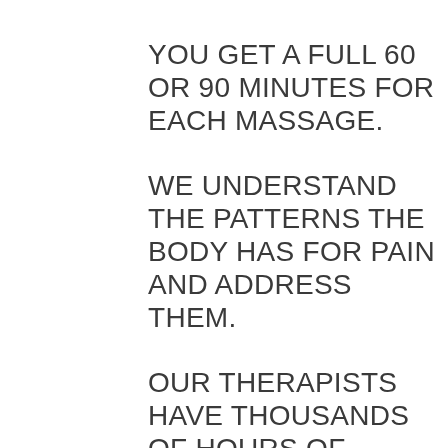YOU GET A FULL 60 OR 90 MINUTES FOR EACH MASSAGE.
WE UNDERSTAND THE PATTERNS THE BODY HAS FOR PAIN AND ADDRESS THEM.
OUR THERAPISTS HAVE THOUSANDS OF HOURS OF THERAPEUTIC MASSAGE EXPERIENCE.
IT IS IMPORTANT FOR OUR TEAM TO CONTINUE OUR EDUCATION…